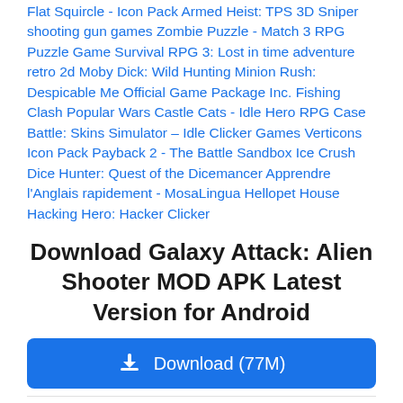Flat Squircle - Icon Pack Armed Heist: TPS 3D Sniper shooting gun games Zombie Puzzle - Match 3 RPG Puzzle Game Survival RPG 3: Lost in time adventure retro 2d Moby Dick: Wild Hunting Minion Rush: Despicable Me Official Game Package Inc. Fishing Clash Popular Wars Castle Cats - Idle Hero RPG Case Battle: Skins Simulator – Idle Clicker Games Verticons Icon Pack Payback 2 - The Battle Sandbox Ice Crush Dice Hunter: Quest of the Dicemancer Apprendre l'Anglais rapidement - MosaLingua Hellopet House Hacking Hero: Hacker Clicker
Download Galaxy Attack: Alien Shooter MOD APK Latest Version for Android
Download (77M)